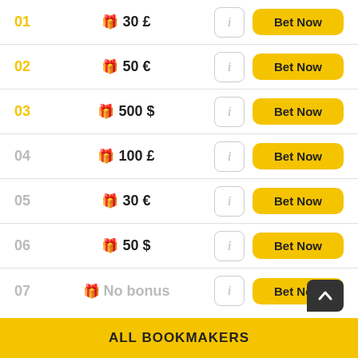01  🎁 30 £  i  Bet Now
02  🎁 50 €  i  Bet Now
03  🎁 500 $  i  Bet Now
04  🎁 100 £  i  Bet Now
05  🎁 30 €  i  Bet Now
06  🎁 50 $  i  Bet Now
07  🎁 No bonus  i  Bet Now
ALL BOOKMAKERS